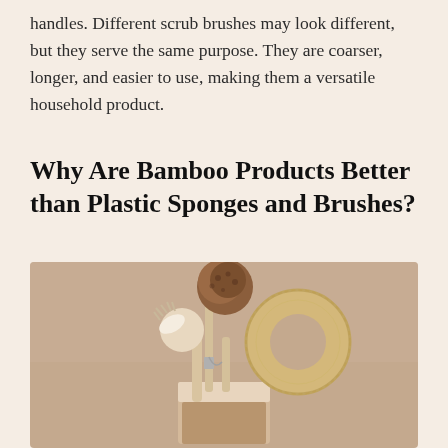handles. Different scrub brushes may look different, but they serve the same purpose. They are coarser, longer, and easier to use, making them a versatile household product.
Why Are Bamboo Products Better than Plastic Sponges and Brushes?
[Figure (photo): A collection of natural bamboo and coconut fiber cleaning brushes and scrubbers arranged in a ceramic cup against a warm beige background. Items include a round dish brush with white bristles, a tall coconut fiber bottle brush, and a donut-shaped loofah scrubber.]